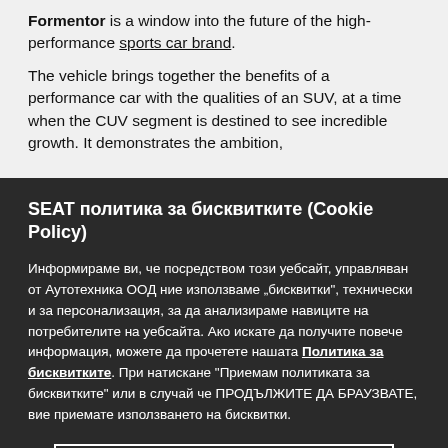Formentor is a window into the future of the high-performance sports car brand.
The vehicle brings together the benefits of a performance car with the qualities of an SUV, at a time when the CUV segment is destined to see incredible growth. It demonstrates the ambition,
SEAT политика за бисквитките (Cookie Policy)
Информираме ви, че посредством този уебсайт, управляван от Аутотехника ООД ние използваме „бисквитки", технически и за персонализация, за да анализираме навиците на потребителите на уебсайта. Ако искате да получите повече информация, можете да прочетете нашата Политика за бисквитките. При натискане "Приемам политиката за бисквитките" или в случай че ПРОДЪЛЖИТЕ ДА БРАУЗВАТЕ, вие приемате използването на бисквитки.
Приемам бисквитките.